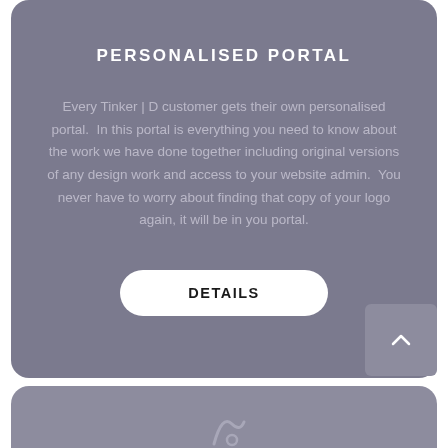PERSONALISED PORTAL
Every Tinker | D customer gets their own personalised portal.  In this portal is everything you need to know about the work we have done together including original versions of any design work and access to your website admin.  You never have to worry about finding that copy of your logo again, it will be in you portal.
DETAILS